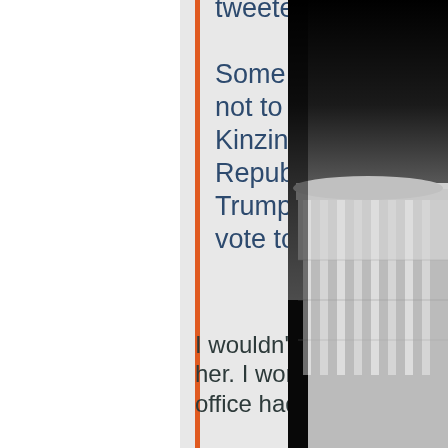tweeted to her at the time.
Some Cheney allies are warning Republicans not to count her out just yet. Rep. Adam Kinzinger (R-IL), one of nine other Republicans who joined Cheney in impeaching Trump, is still standing with Cheney and will vote to keep her as conference chair.
I wouldn't be surprised if some of the 9 vote against her. I wonder if it will be a secret ballot. Pelosi's office had some
[Figure (photo): Black and white photo of the US Capitol building dome/rotunda columns, partially visible on the right side of the image against a dark background]